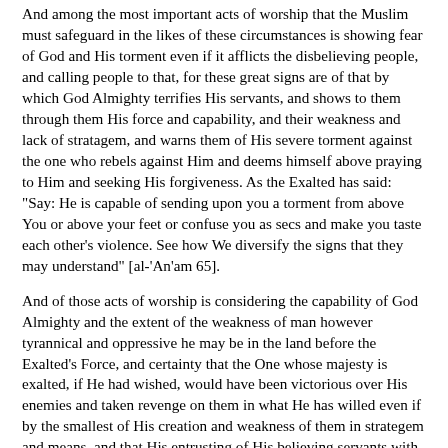And among the most important acts of worship that the Muslim must safeguard in the likes of these circumstances is showing fear of God and His torment even if it afflicts the disbelieving people, and calling people to that, for these great signs are of that by which God Almighty terrifies His servants, and shows to them through them His force and capability, and their weakness and lack of stratagem, and warns them of His severe torment against the one who rebels against Him and deems himself above praying to Him and seeking His forgiveness. As the Exalted has said: "Say: He is capable of sending upon you a torment from above You or above your feet or confuse you as secs and make you taste each other's violence. See how We diversify the signs that they may understand" [al-'An'am 65].
And of those acts of worship is considering the capability of God Almighty and the extent of the weakness of man however tyrannical and oppressive he may be in the land before the Exalted's Force, and certainty that the One whose majesty is exalted, if He had wished, would have been victorious over His enemies and taken revenge on them in what He has willed even if by the smallest of His creation and weakness of them in strategem and means, and that His entrusting of His believing servants with jihad against them is but a test of affliction for them in obedience to Him and examining what is in their hearts from faith. As the Exalted has said: "So when you meet those who have disbelieved, strike them such that they are severely inflicted hard...